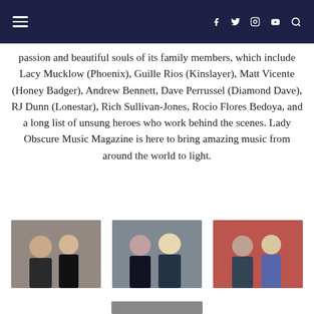Navigation bar with hamburger menu, social icons (Facebook, Twitter, Instagram, YouTube) and search
passion and beautiful souls of its family members, which include Lacy Mucklow (Phoenix), Guille Rios (Kinslayer), Matt Vicente (Honey Badger), Andrew Bennett, Dave Perrussel (Diamond Dave), RJ Dunn (Lonestar), Rich Sullivan-Jones, Rocio Flores Bedoya, and a long list of unsung heroes who work behind the scenes. Lady Obscure Music Magazine is here to bring amazing music from around the world to light.
[Figure (photo): Two people posing together, a woman and a man, at what appears to be a venue or event]
[Figure (photo): Two women posing together, one with dark hair and one with blonde hair, at an event]
[Figure (photo): Two people smiling closely together, appearing to be at a concert or event]
[Figure (photo): Partial view of a photo at the bottom of the page, partially cut off]